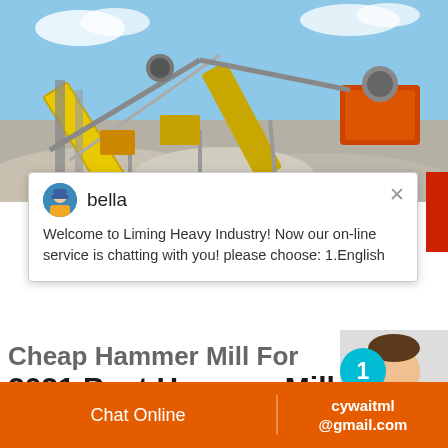[Figure (photo): Mining/quarry machinery — large yellow conveyor and crushing equipment with piles of gravel/aggregate under a blue sky]
bella
Welcome to Liming Heavy Industry! Now our on-line service is chatting with you! please choose: 1.English
Cheap Hammer Mill For
2021 Best Hammer Mill
Buy cheap hammer mill online. Want chea... We have 2021 new hammer mill products o... may vary so we advise you do a search for...
Chat Online
cywaitml @gmail.com